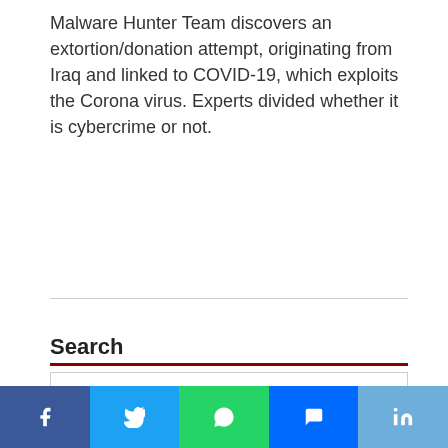Malware Hunter Team discovers an extortion/donation attempt, originating from Iraq and linked to COVID-19, which exploits the Corona virus. Experts divided whether it is cybercrime or not.
Search
Newsletter